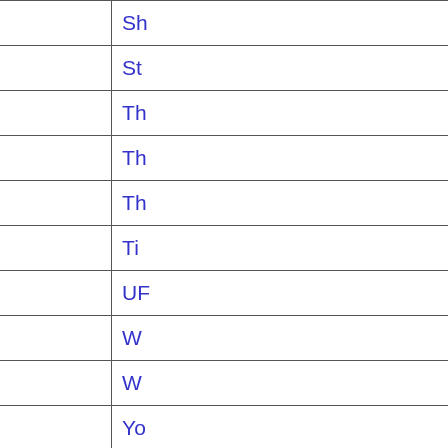[Figure (illustration): Faded olive/yellow watermark background with circular text/logo design (appears to show 'Cine' or similar text in stylized circular arrangement)]
| Artist | Band | Song |
| --- | --- | --- |
| Paul Raymond | U.F.O. | Sh... |
| Paul Raymond | U.F.O. | St... |
| Paul Raymond | U.F.O. | Th... |
| Paul Raymond | U.F.O. | Th... |
| Paul Raymond | U.F.O. | Th... |
| Paul Raymond | U.F.O. | Ti... |
| Paul Raymond | U.F.O. | UF... |
| Paul Raymond | U.F.O. | W... |
| Paul Raymond | U.F.O. | W... |
| Paul Raymond | U.F.O. | Yo... |
| Paul Raymond | Waysted | Vi... |
| Paul Simmons | Joan Jett | Ba... |
| Paul Simmons | Passion Temple | Pa... |
| Paul Simmons | Petra | Fa... |
| Paul Sisemore | Ben Schultz Band | Tr... |
| Paul Slim McDermott | Ginn | Or... |